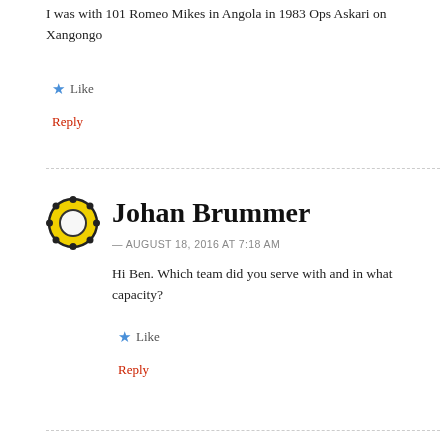I was with 101 Romeo Mikes in Angola in 1983 Ops Askari on Xangongo
Like
Reply
Johan Brummer
— AUGUST 18, 2016 AT 7:18 AM
Hi Ben. Which team did you serve with and in what capacity?
Like
Reply